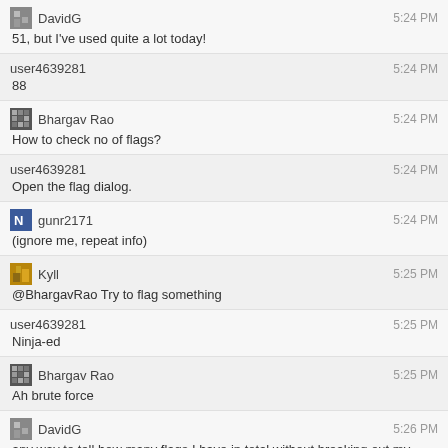DavidG | 5:24 PM | 51, but I've used quite a lot today!
user4639281 | 5:24 PM | 88
Bhargav Rao | 5:24 PM | How to check no of flags?
user4639281 | 5:24 PM | Open the flag dialog.
gunr2171 | 5:24 PM | (ignore me, repeat info)
Kyll | 5:25 PM | @BhargavRao Try to flag something
user4639281 | 5:25 PM | Ninja-ed
Bhargav Rao | 5:25 PM | Ah brute force
DavidG | 5:26 PM | any way to tell how many flags I have in total without breaking out my calculator?
user4639281 | 5:26 PM